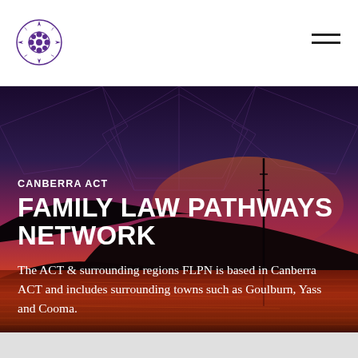Canberra ACT Family Law Pathways Network — logo and navigation
[Figure (illustration): Sunset landscape photograph of Canberra with silhouetted hills reflected in water, used as hero background. Dark purple geometric pattern overlay in upper portion.]
CANBERRA ACT
FAMILY LAW PATHWAYS NETWORK
The ACT & surrounding regions FLPN is based in Canberra ACT and includes surrounding towns such as Goulburn, Yass and Cooma.